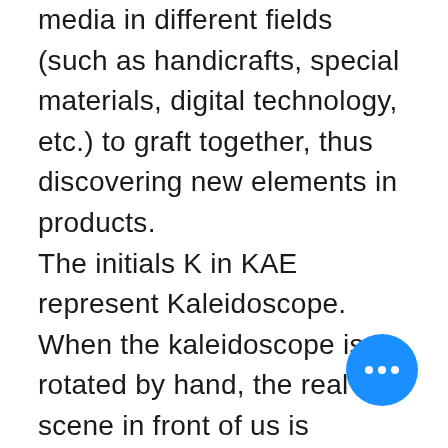...businesses and benefits utilizing media in different fields (such as handicrafts, special materials, digital technology, etc.) to graft together, thus discovering new elements in products. The initials K in KAE represent Kaleidoscope. When the kaleidoscope is rotated by hand, the real scene in front of us is reconstructed into numerous geometric fragment patterns. We compare the way of merging media materials to a kaleidoscope, which turns existing materials into a new language instead of creating a...
[Figure (other): Blue circular button with three white dots (ellipsis/more options button)]